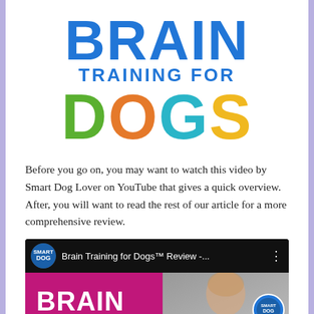[Figure (logo): Brain Training for Dogs logo. BRAIN in large bold blue letters, TRAINING FOR in smaller bold blue letters, DOGS in large bold letters with D in green, O in orange, G in teal/cyan, S in yellow/gold.]
Before you go on, you may want to watch this video by Smart Dog Lover on YouTube that gives a quick overview. After, you will want to read the rest of our article for a more comprehensive review.
[Figure (screenshot): YouTube video thumbnail showing 'Brain Training for Dogs™ Review -...' by Smart Dog Lover channel. The thumbnail shows a magenta/pink left half with the word BRAIN in white bold text, and the right half shows a woman's face. A Smart Dog Lover circular logo badge appears in the top left and bottom right of the thumbnail.]